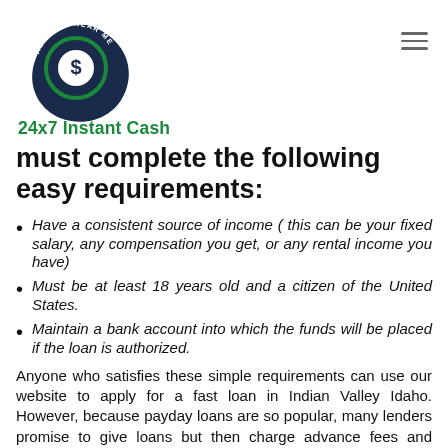[Figure (logo): 24x7 Instant Cash / Advance Near Me logo — circular dark navy icon with dollar sign and letter d, with text '24x7 Instant Cash' in green below]
must complete the following easy requirements:
Have a consistent source of income ( this can be your fixed salary, any compensation you get, or any rental income you have)
Must be at least 18 years old and a citizen of the United States.
Maintain a bank account into which the funds will be placed if the loan is authorized.
Anyone who satisfies these simple requirements can use our website to apply for a fast loan in Indian Valley Idaho. However, because payday loans are so popular, many lenders promise to give loans but then charge advance fees and bombard clients